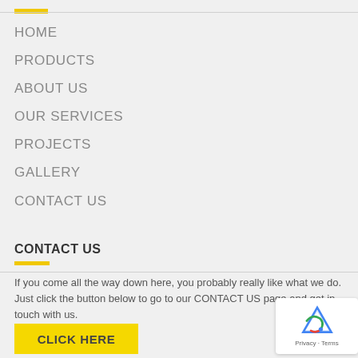HOME
PRODUCTS
ABOUT US
OUR SERVICES
PROJECTS
GALLERY
CONTACT US
CONTACT US
If you come all the way down here, you probably really like what we do. Just click the button below to go to our CONTACT US page and get in touch with us.
CLICK HERE